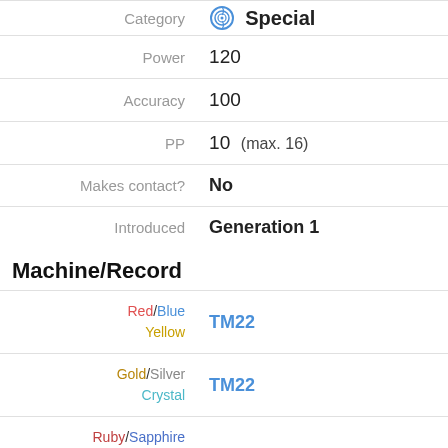| Property | Value |
| --- | --- |
| Category | Special |
| Power | 120 |
| Accuracy | 100 |
| PP | 10  (max. 16) |
| Makes contact? | No |
| Introduced | Generation 1 |
Machine/Record
| Games | TM/HM |
| --- | --- |
| Red/Blue
Yellow | TM22 |
| Gold/Silver
Crystal | TM22 |
| Ruby/Sapphire
FireRed/LeafGreen
Emerald | TM22 |